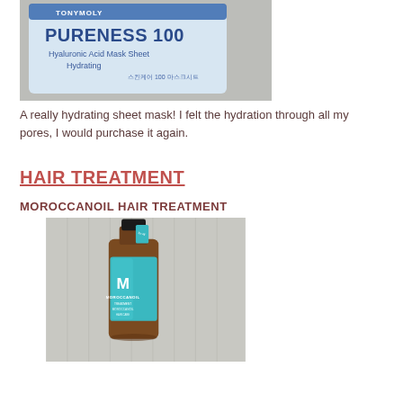[Figure (photo): Photo of Tony Moly Pureness 100 Hyaluronic Acid Mask Sheet product packaging, blue and white label on textured background]
A really hydrating sheet mask! I felt the hydration through all my pores, I would purchase it again.
HAIR TREATMENT
MOROCCANOIL HAIR TREATMENT
[Figure (photo): Photo of Moroccanoil Hair Treatment bottle — amber glass bottle with teal label featuring the M logo, resting against a fabric background]